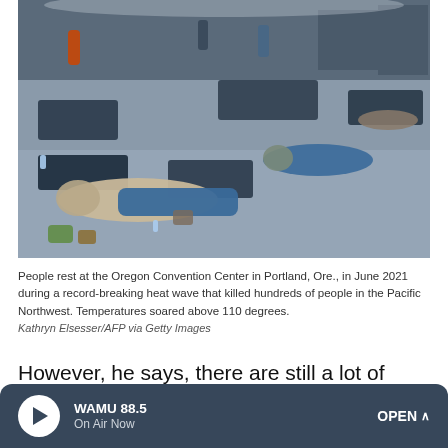[Figure (photo): People resting on mats and cots on the floor of a large indoor convention center shelter during a heat wave emergency.]
People rest at the Oregon Convention Center in Portland, Ore., in June 2021 during a record-breaking heat wave that killed hundreds of people in the Pacific Northwest. Temperatures soared above 110 degrees.
Kathryn Elsesser/AFP via Getty Images
However, he says, there are still a lot of questions about what's going on below the surface.
WAMU 88.5 On Air Now OPEN